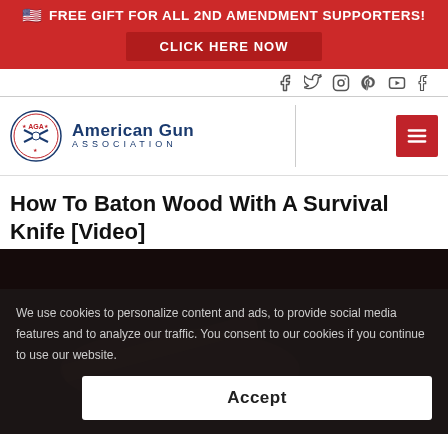🇺🇸 FREE GIFT FOR ALL 2ND AMENDMENT SUPPORTERS! CLICK HERE NOW
[Figure (logo): American Gun Association logo with circular badge and text]
How To Baton Wood With A Survival Knife [Video]
We use cookies to personalize content and ads, to provide social media features and to analyze our traffic. You consent to our cookies if you continue to use our website.
Accept